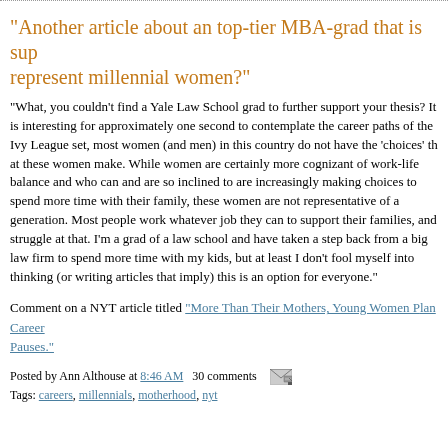"Another article about an top-tier MBA-grad that is supposed to represent millennial women?"
"What, you couldn't find a Yale Law School grad to further support your thesis? It is interesting for approximately one second to contemplate the career paths of the Ivy League set, most women (and men) in this country do not have the 'choices' that these women make. While women are certainly more cognizant of work-life balance and who can and are so inclined to are increasingly making choices to spend more time with their family, these women are not representative of a generation. Most people work whatever job they can to support their families, and struggle at that. I'm a grad of a law school and have taken a step back from a big law firm to spend more time with my kids, but at least I don't fool myself into thinking (or writing articles that imply) this is an option for everyone."
Comment on a NYT article titled "More Than Their Mothers, Young Women Plan Career Pauses."
Posted by Ann Althouse at 8:46 AM   30 comments
Tags: careers, millennials, motherhood, nyt